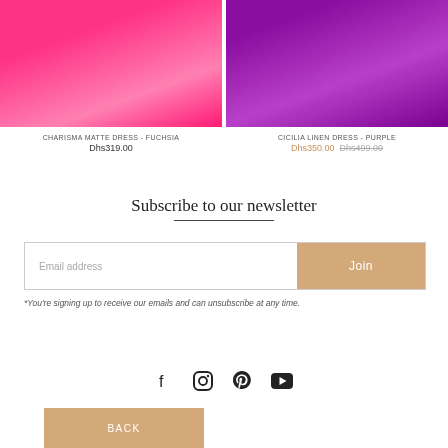[Figure (photo): Fuchsia/hot pink satin mini dress on a model, cropped mid-torso view]
CHARISMA MATTE DRESS - FUCHSIA
Dhs319.00
[Figure (photo): Purple linen mini dress on a model, cropped mid-torso view]
CICILIA LINEN DRESS - PURPLE
Dhs350.00  Dhs499.00
Subscribe to our newsletter
Email address
Join
*You're signing up to receive our emails and can unsubscribe at any time.
[Figure (other): Social media icons: Facebook, Instagram, Pinterest, YouTube]
BACK